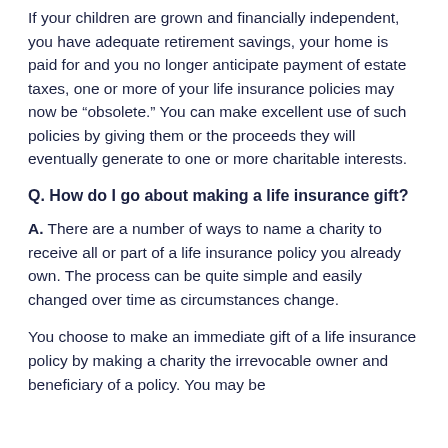If your children are grown and financially independent, you have adequate retirement savings, your home is paid for and you no longer anticipate payment of estate taxes, one or more of your life insurance policies may now be “obsolete.” You can make excellent use of such policies by giving them or the proceeds they will eventually generate to one or more charitable interests.
Q. How do I go about making a life insurance gift?
A. There are a number of ways to name a charity to receive all or part of a life insurance policy you already own. The process can be quite simple and easily changed over time as circumstances change.
You choose to make an immediate gift of a life insurance policy by making a charity the irrevocable owner and beneficiary of a policy. You may be